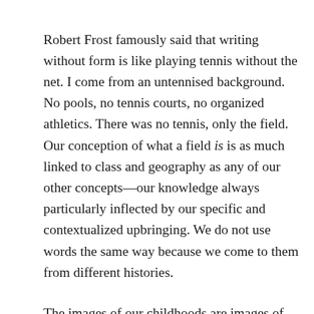Robert Frost famously said that writing without form is like playing tennis without the net. I come from an untennised background. No pools, no tennis courts, no organized athletics. There was no tennis, only the field. Our conception of what a field is is as much linked to class and geography as any of our other concepts—our knowledge always particularly inflected by our specific and contextualized upbringing. We do not use words the same way because we come to them from different histories.
The images of our childhoods are images of origin—deep images in our psyches. Butchering, gardening, raising chickens—these are activities closely linked to the image-history of the field for me. And when I come to the page, I bring the field with me—the two fields intersect, overlap, layer onto each other. It is why I am so attracted to hybridity and genre-play, to challenging language that